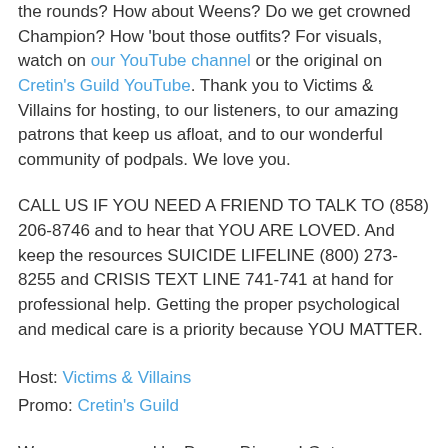the rounds? How about Weens? Do we get crowned Champion? How 'bout those outfits? For visuals, watch on our YouTube channel or the original on Cretin's Guild YouTube. Thank you to Victims & Villains for hosting, to our listeners, to our amazing patrons that keep us afloat, and to our wonderful community of podpals. We love you.
CALL US IF YOU NEED A FRIEND TO TALK TO (858) 206-8746 and to hear that YOU ARE LOVED. And keep the resources SUICIDE LIFELINE (800) 273-8255 and CRISIS TEXT LINE 741-741 at hand for professional help. Getting the proper psychological and medical care is a priority because YOU MATTER.
Host: Victims & Villains
Promo: Cretin's Guild
We are sponsored by Dream Dinners! Get more